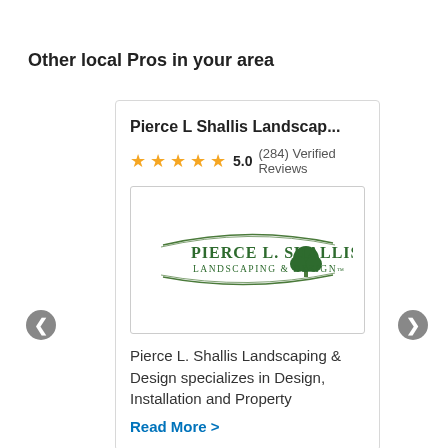Other local Pros in your area
Pierce L Shallis Landscap...
5.0 (284) Verified Reviews
[Figure (logo): Pierce L. Shallis Landscaping & Design logo with a green tree and swoosh lines]
Pierce L. Shallis Landscaping & Design specializes in Design, Installation and Property
Read More >